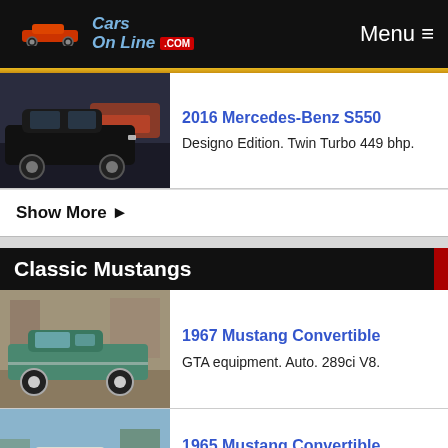CarsOnLine.com — Menu
[Figure (photo): 2016 Mercedes-Benz S550 black sedan in a showroom]
2016 Mercedes-Benz S550
Designo Edition. Twin Turbo 449 bhp.
Show More ▶
Classic Mustangs
[Figure (photo): 1967 Mustang Convertible teal/turquoise color parked outdoors]
1967 Mustang Convertible
GTA equipment. Auto. 289ci V8.
[Figure (photo): 1965 Mustang Convertible red/maroon color parked outdoors]
1965 Mustang Convertible
Original 289 C-code V8. Toploader 4-spd.